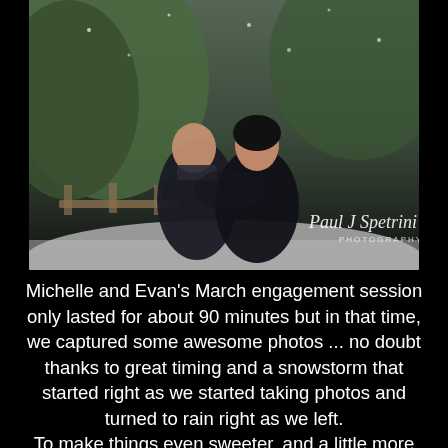[Figure (photo): A couple sharing an intimate moment outdoors in a snowy winter setting. The man and woman are close together as if about to kiss. Snow-covered trees and a wooden bridge are visible in the background. A photographer's watermark reads 'Paul J Spetrini Photography' in the lower right corner.]
Michelle and Evan's March engagement session only lasted for about 90 minutes but in that time, we captured some awesome photos ... no doubt thanks to great timing and a snowstorm that started right as we started taking photos and turned to rain right as we left.
To make things even sweeter, and a little more poetic, Michelle had